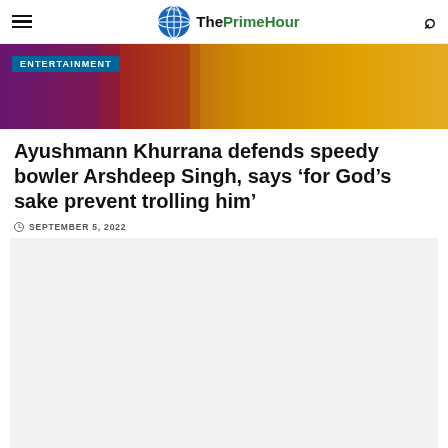ThePrimeHour
[Figure (photo): Hero image with colorful background showing a person in yellow shirt, with ENTERTAINMENT badge overlay]
Ayushmann Khurrana defends speedy bowler Arshdeep Singh, says ‘for God’s sake prevent trolling him’
SEPTEMBER 5, 2022
[Figure (other): Advertisement placeholder box with light grey background]